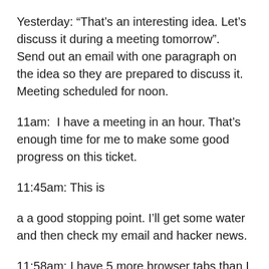Yesterday: “That’s an interesting idea. Let’s discuss it during a meeting tomorrow”. Send out an email with one paragraph on the idea so they are prepared to discuss it. Meeting scheduled for noon.
11am:  I have a meeting in an hour. That’s enough time for me to make some good progress on this ticket.
11:45am: This is
a a good stopping point. I’ll get some water and then check my email and hacker news.
11:58am: I have 5 more browser tabs than I